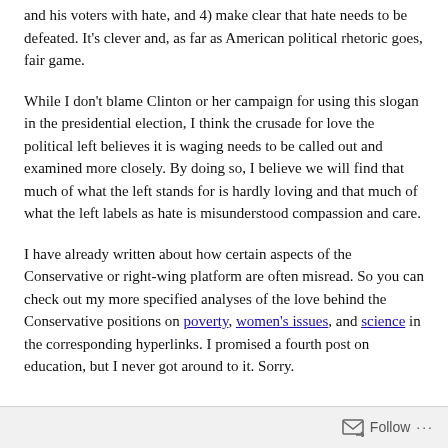and his voters with hate, and 4) make clear that hate needs to be defeated. It's clever and, as far as American political rhetoric goes, fair game.
While I don't blame Clinton or her campaign for using this slogan in the presidential election, I think the crusade for love the political left believes it is waging needs to be called out and examined more closely. By doing so, I believe we will find that much of what the left stands for is hardly loving and that much of what the left labels as hate is misunderstood compassion and care.
I have already written about how certain aspects of the Conservative or right-wing platform are often misread. So you can check out my more specified analyses of the love behind the Conservative positions on poverty, women's issues, and science in the corresponding hyperlinks. I promised a fourth post on education, but I never got around to it. Sorry.
Follow ···